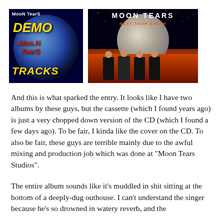[Figure (photo): Two album covers side by side. Left: Moon Tears Demo Moon Tears Tracks cassette cover with blue moon on dark background. Right: Moon Tears Next Tour Earth CD cover with band members standing on alien landscape with large moon.]
And this is what sparked the entry. It looks like I have two albums by these guys, but the cassette (which I found years ago) is just a very chopped down version of the CD (which I found a few days ago). To be fair, I kinda like the cover on the CD. To also be fair, these guys are terrible mainly due to the awful mixing and production job which was done at "Moon Tears Studios".
The entire album sounds like it's muddled in shit sitting at the bottom of a deeply-dug outhouse. I can't understand the singer because he's so drowned in watery reverb, and the